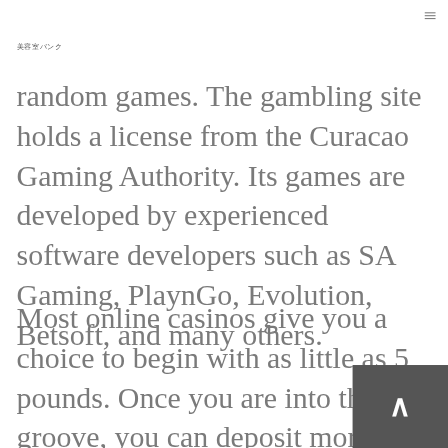美容室バンク
random games. The gambling site holds a license from the Curacao Gaming Authority. Its games are developed by experienced software developers such as SA Gaming, PlaynGo, Evolution, Betsoft, and many others.
Most online casinos give you a choice to begin with as little as 5 pounds. Once you are into the groove, you can deposit more if you wish to continue to play. We cover which payment methods are available to you when you sign up to an online casi...